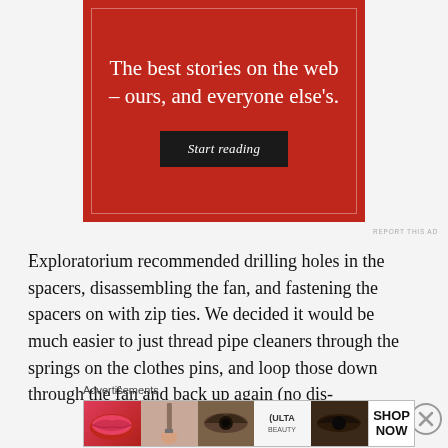[Figure (advertisement): Red background advertisement banner with white text reading 'The best stories on the web – ours, and everyone else's.' with a dark 'Start reading' button, surrounded by a light border.]
REPORT THIS AD
Exploratorium recommended drilling holes in the spacers, disassembling the fan, and fastening the spacers on with zip ties. We decided it would be much easier to just thread pipe cleaners through the springs on the clothes pins, and loop those down through the fan and back up again (no dis-
Advertisements
[Figure (advertisement): ULTA beauty advertisement banner showing cosmetic products including lips, makeup brush, eye, ULTA logo, eye makeup, with SHOP NOW text.]
REPORT THIS AD